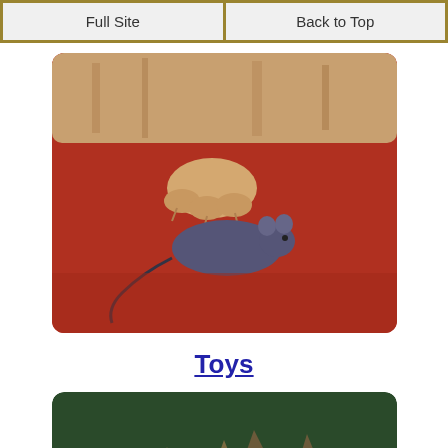Full Site | Back to Top
[Figure (photo): A cat's paw resting on a toy mouse on a red surface]
Toys
[Figure (photo): Two tabby kittens playing and wrestling with each other]
Behavior Problems
[Figure (photo): Partial top of a cartoon cat face/logo with ears, cut off at bottom of page]